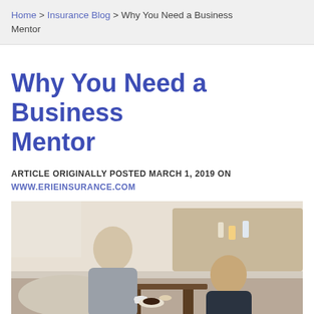Home > Insurance Blog > Why You Need a Business Mentor
Why You Need a Business Mentor
ARTICLE ORIGINALLY POSTED MARCH 1, 2019 ON WWW.ERIEINSURANCE.COM
[Figure (photo): Two men sitting at a cafe table having a business meeting/mentorship conversation. An older man in a grey suit sits across from a younger man in a dark jacket. Coffee cups and food are on the table.]